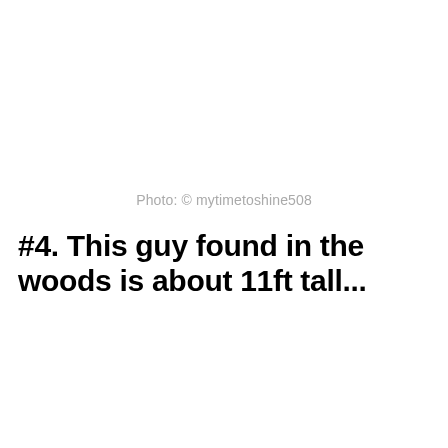Photo: © mytimetoshine508
#4. This guy found in the woods is about 11ft tall...